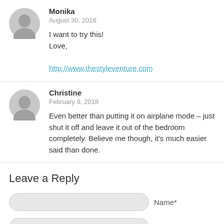Monika
August 30, 2016

I want to try this!
Love,

http://www.thestyleventure.com
Christine
February 8, 2018

Even better than putting it on airplane mode – just shut it off and leave it out of the bedroom completely. Believe me though, it's much easier said than done.
Leave a Reply
Name*
E-Mail*
Website